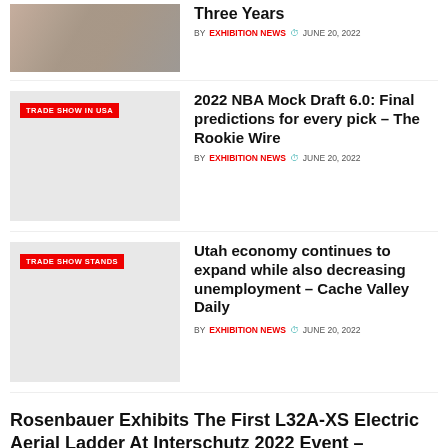[Figure (photo): Crowd of children and people celebrating, photo thumbnail]
Three Years
BY EXHIBITION NEWS  JUNE 20, 2022
[Figure (photo): Gray thumbnail with TRADE SHOW IN USA badge]
2022 NBA Mock Draft 6.0: Final predictions for every pick – The Rookie Wire
BY EXHIBITION NEWS  JUNE 20, 2022
[Figure (photo): Gray thumbnail with TRADE SHOW STANDS badge]
Utah economy continues to expand while also decreasing unemployment – Cache Valley Daily
BY EXHIBITION NEWS  JUNE 20, 2022
Rosenbauer Exhibits The First L32A-XS Electric Aerial Ladder At Interschutz 2022 Event – TheBigRedGuide.com
BY EXHIBITION NEWS  JUNE 20, 2022